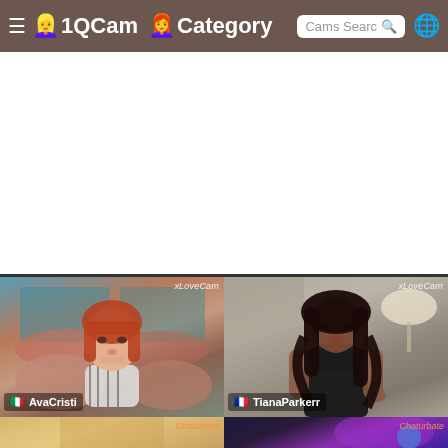≡ 1QCam Category | Cams Search 🔍 🌐
[Figure (screenshot): White advertisement area placeholder]
[Figure (photo): Live cam thumbnail of AvaCristi (Italy flag), redhead woman in zebra print top, fur jacket, xLoveCam watermark]
[Figure (photo): Live cam thumbnail of TianaParkerr (France flag), dark-skinned woman in black leather dress, xLoveCam watermark]
[Figure (photo): Bottom-left cam thumbnail, Chaturbate watermark, partial view]
[Figure (photo): Bottom-right cam thumbnail, Chaturbate watermark, purple/dark background]